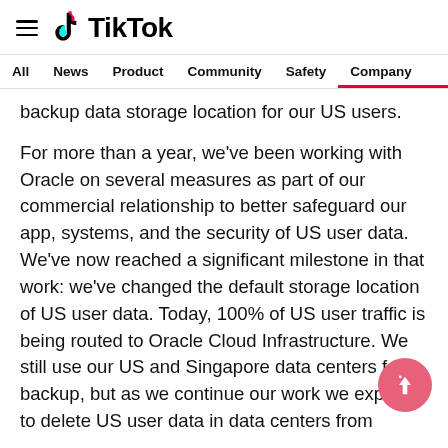TikTok
All  News  Product  Community  Safety  Company
backup data storage location for our US users.
For more than a year, we've been working with Oracle on several measures as part of our commercial relationship to better safeguard our app, systems, and the security of US user data. We've now reached a significant milestone in that work: we've changed the default storage location of US user data. Today, 100% of US user traffic is being routed to Oracle Cloud Infrastructure. We still use our US and Singapore data centers for backup, but as we continue our work we expect to delete US user data in data centers from